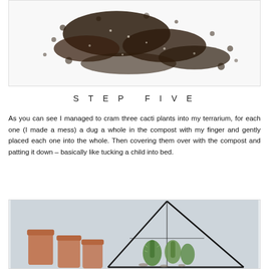[Figure (photo): Overhead view of dark soil/compost scattered on a white background]
STEP FIVE
As you can see I managed to cram three cacti plants into my terrarium, for each one (I made a mess) a dug a whole in the compost with my finger and gently placed each one into the whole. Then covering them over with the compost and patting it down – basically like tucking a child into bed.
[Figure (photo): Terrarium with cacti inside a geometric glass pyramid frame, terracotta pots visible to the left, light blue-grey background]